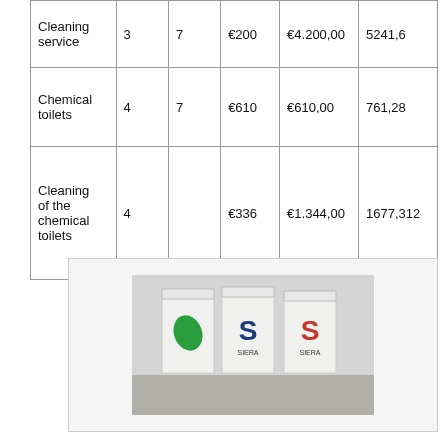| Cleaning service | 3 | 7 | €200 | €4.200,00 | 5241,6 |
| Chemical toilets | 4 | 7 | €610 | €610,00 | 761,28 |
| Cleaning of the chemical toilets | 4 |  | €336 | €1.344,00 | 1677,312 |
[Figure (photo): Photo of three waste/recycling bins with logos on them, placed against a wall]